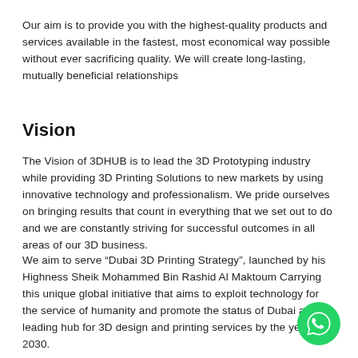Our aim is to provide you with the highest-quality products and services available in the fastest, most economical way possible without ever sacrificing quality. We will create long-lasting, mutually beneficial relationships
Vision
The Vision of 3DHUB is to lead the 3D Prototyping industry while providing 3D Printing Solutions to new markets by using innovative technology and professionalism. We pride ourselves on bringing results that count in everything that we set out to do and we are constantly striving for successful outcomes in all areas of our 3D business.
We aim to serve “Dubai 3D Printing Strategy”, launched by his Highness Sheik Mohammed Bin Rashid Al Maktoum Carrying this unique global initiative that aims to exploit technology for the service of humanity and promote the status of Dubai as a leading hub for 3D design and printing services by the year 2030.
[Figure (logo): WhatsApp green circular button icon in bottom-right corner]